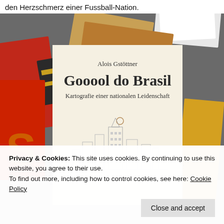den Herzschmerz einer Fussball-Nation.
[Figure (photo): Photo of a book cover titled 'Gooool do Brasil – Kartografie einer nationalen Leidenschaft' by Alois Gstöttner, surrounded by other books in the background.]
Privacy & Cookies: This site uses cookies. By continuing to use this website, you agree to their use.
To find out more, including how to control cookies, see here: Cookie Policy
Close and accept